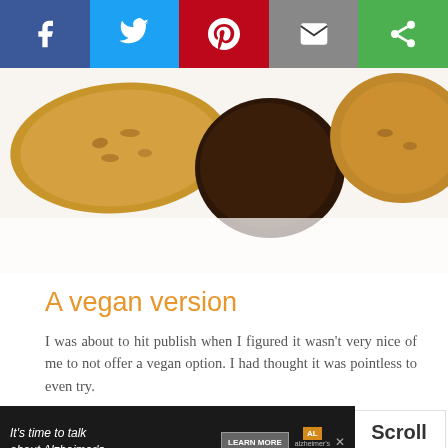[Figure (other): Social media sharing buttons bar: Facebook (blue), Twitter (light blue), Pinterest (red), Email (grey), Share (green)]
[Figure (photo): Close-up photo of oat cookies, one partially dipped in dark chocolate, on a white surface]
A vegan version
I was about to hit publish when I figured it wasn't very nice of me to not offer a vegan option. I had thought it was pointless to even try.
But I just tried with chia eggs and it worked perfectly. In the almond paste-free version and the paleo version.
[Figure (other): Advertisement banner: It's time to talk about Alzheimer's. Learn More button. Alzheimer's Association logo.]